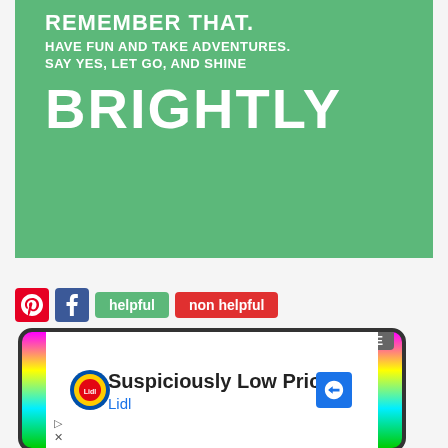[Figure (illustration): Green motivational quote banner: 'REMEMBER THAT. HAVE FUN AND TAKE ADVENTURES. SAY YES, LET GO, AND SHINE BRIGHTLY' in white bold text on green background.]
helpful  non helpful
[Figure (screenshot): Advertisement popup with rainbow-striped border showing Lidl 'Suspiciously Low Prices' ad with CLOSE button, play and X icons at bottom.]